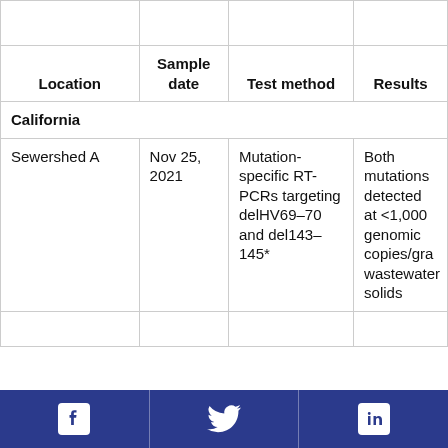| Location | Sample date | Test method | Results |
| --- | --- | --- | --- |
| California |  |  |  |
| Sewershed A | Nov 25, 2021 | Mutation-specific RT-PCRs targeting delHV69–70 and del143–145* | Both mutations detected at <1,000 genomic copies/gram wastewater solids |
Facebook | Twitter | LinkedIn